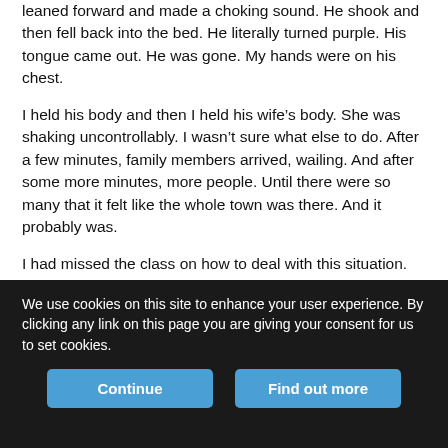leaned forward and made a choking sound. He shook and then fell back into the bed. He literally turned purple. His tongue came out. He was gone. My hands were on his chest.
I held his body and then I held his wife’s body. She was shaking uncontrollably. I wasn’t sure what else to do. After a few minutes, family members arrived, wailing. And after some more minutes, more people. Until there were so many that it felt like the whole town was there. And it probably was.
I had missed the class on how to deal with this situation.
After hours of greeting community members, hugs, tears, and feelings of sadness and calm stirred in with anxiety and trepidation, I
We use cookies on this site to enhance your user experience. By clicking any link on this page you are giving your consent for us to set cookies.
Continue
Find out more